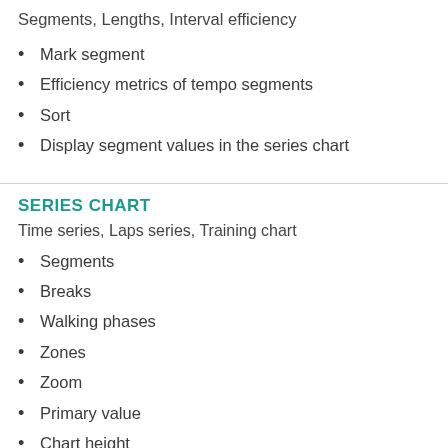Segments, Lengths, Interval efficiency
Mark segment
Efficiency metrics of tempo segments
Sort
Display segment values in the series chart
SERIES CHART
Time series, Laps series, Training chart
Segments
Breaks
Walking phases
Zones
Zoom
Primary value
Chart height
Synchronisation
Axis indicator